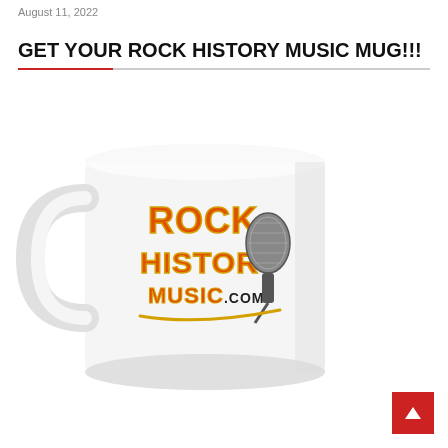August 11, 2022
GET YOUR ROCK HISTORY MUSIC MUG!!!
[Figure (photo): A white ceramic mug featuring the Rock History Music .com logo with a vintage microphone graphic. The logo text is in orange/red lettering with a gold outline.]